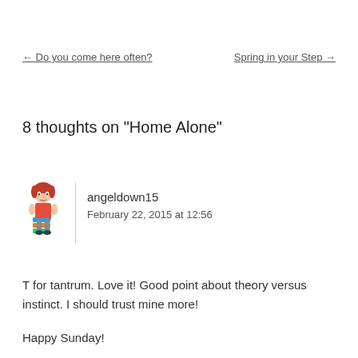← Do you come here often?
Spring in your Step →
8 thoughts on "Home Alone"
angeldown15
February 22, 2015 at 12:56
T for tantrum. Love it! Good point about theory versus instinct. I should trust mine more!

Happy Sunday!

Love from The Hedgehog x